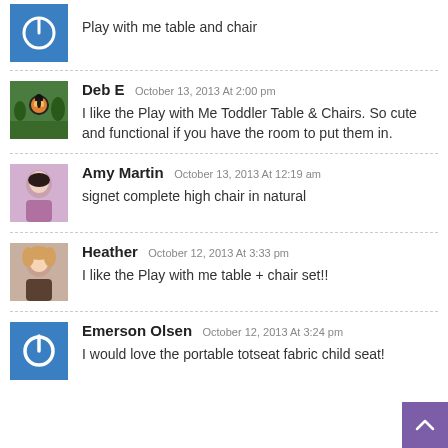Play with me table and chair
Deb E  October 13, 2013 At 2:00 pm
I like the Play with Me Toddler Table & Chairs. So cute and functional if you have the room to put them in.
Amy Martin  October 13, 2013 At 12:19 am
signet complete high chair in natural
Heather  October 12, 2013 At 3:33 pm
I like the Play with me table + chair set!!
Emerson Olsen  October 12, 2013 At 3:24 pm
I would love the portable totseat fabric child seat!